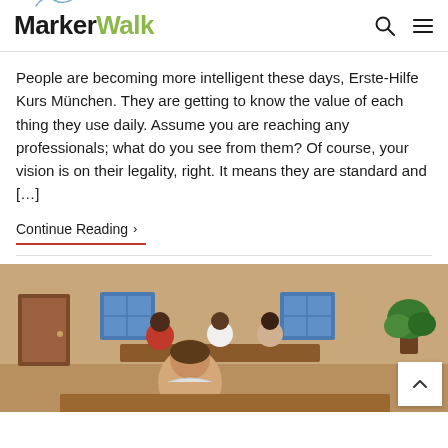MarkerWalk
People are becoming more intelligent these days, Erste-Hilfe Kurs München. They are getting to know the value of each thing they use daily. Assume you are reaching any professionals; what do you see from them? Of course, your vision is on their legality, right. It means they are standard and [...]
Continue Reading >
[Figure (photo): Classroom scene with students sitting at tables, one male student in foreground looking toward camera, others in background; warm-toned room with wooden accents and windows]